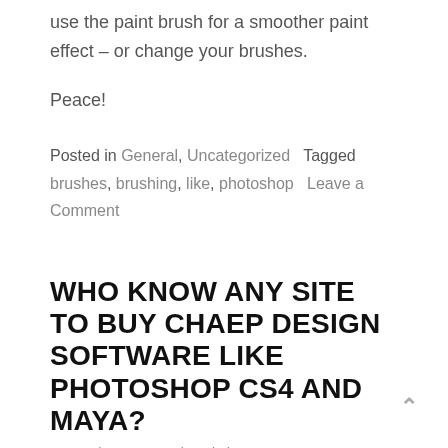use the paint brush for a smoother paint effect – or change your brushes.
Peace!
Posted in General, Uncategorized   Tagged brushes, brushing, like, photoshop   Leave a Comment
WHO KNOW ANY SITE TO BUY CHAEP DESIGN SOFTWARE LIKE PHOTOSHOP CS4 AND MAYA?
September 16, 2011 by admin · Leave a comment
Question by Sam: Who know any site to buy chaep design software like Photoshop CS4 and Maya?